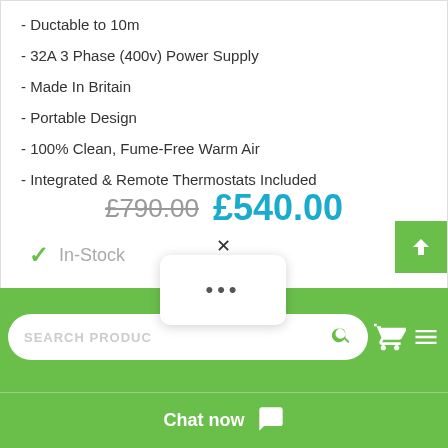- Ductable to 10m
- 32A 3 Phase (400v) Power Supply
- Made In Britain
- Portable Design
- 100% Clean, Fume-Free Warm Air
- Integrated & Remote Thermostats Included
£790.00  £540.00
In-Stock
SEARCH PRODUCTS
Chat now